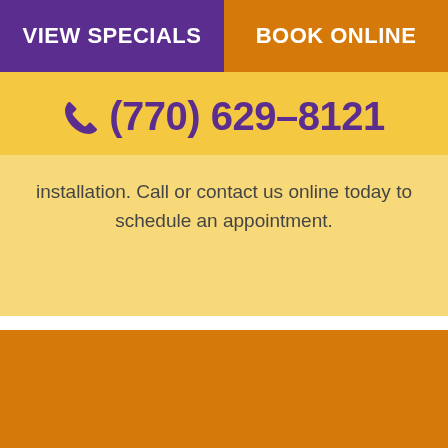VIEW SPECIALS
BOOK ONLINE
(770) 629-8121
installation. Call or contact us online today to schedule an appointment.
CONTACT GEE